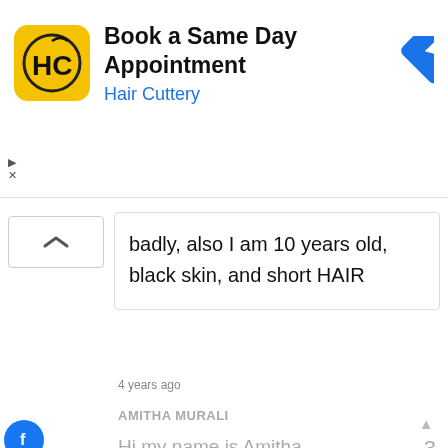[Figure (screenshot): Ad banner for Hair Cuttery: logo with HC initials on yellow background, text 'Book a Same Day Appointment', 'Hair Cuttery' in blue, blue diamond navigation arrow icon]
badly, also I am 10 years old, black skin, and short HAIR
4 years ago
AMITHA MURALI
Hi my name is Amitha Muralitharan. I am 13 years old as of September 29 2017. Ever since I was a kid, I loved Odd Squad. Everything from the odd cases, the gadgets, the badge phones, especially the math! I am in